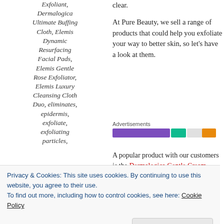Exfoliant, Dermalogica Ultimate Buffing Cloth, Elemis Dynamic Resurfacing Facial Pads, Elemis Gentle Rose Exfoliator, Elemis Luxury Cleansing Cloth Duo, eliminates, epidermis, exfoliate, exfoliating particles,
clear.
At Pure Beauty, we sell a range of products that could help you exfoliate your way to better skin, so let's have a look at them.
[Figure (other): Advertisements bar with purple, teal, and orange colored segments]
A popular product with our customers is the Dermalogica Gentle Cream Exfoliant and for good reason. Suitable for all skin types, except sensitive, Lactic Acid. Salicylic Acid. Sulphur and fruit enzymes
Privacy & Cookies: This site uses cookies. By continuing to use this website, you agree to their use. To find out more, including how to control cookies, see here: Cookie Policy
Close and accept